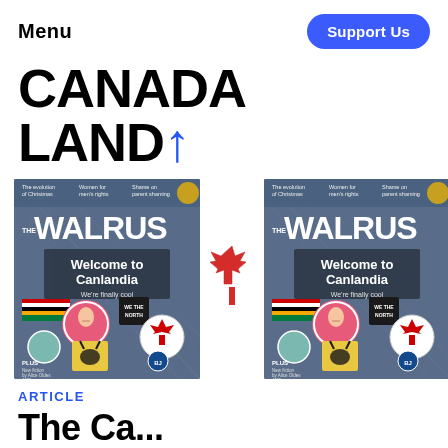Menu
Support Us
CANADA LAND↑
[Figure (illustration): Two identical Walrus magazine covers side by side showing 'Welcome to Canlandia – We're finally cool' with various Canadian badges and pins on a denim jacket background, with a red maple leaf in the centre between them]
ARTICLE
The Ca...